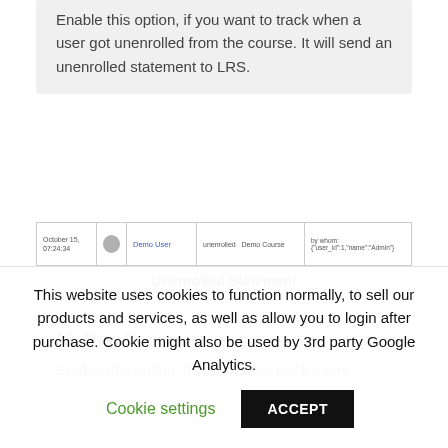11. User Unenrollment from Course
Enable this option, if you want to track when a user got unenrolled from the course. It will send an unenrolled statement to LRS.
[Figure (screenshot): Screenshot of a log entry showing: October 15, 07:24:34 | Demo User avatar | unenrolled Demo Course | by whom: {"user_id":1,"name":"Admin"}]
Unenrolled Statement
12. New Comment
Enable this option, if you want to track every
This website uses cookies to function normally, to sell our products and services, as well as allow you to login after purchase. Cookie might also be used by 3rd party Google Analytics.
Cookie settings     ACCEPT